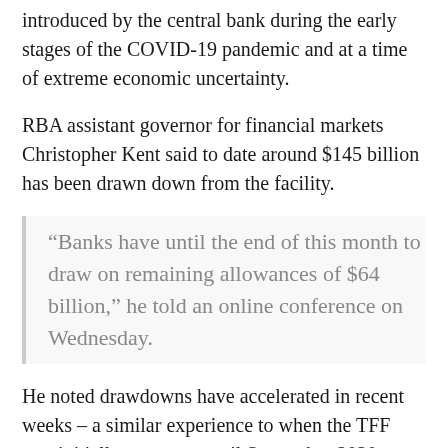introduced by the central bank during the early stages of the COVID-19 pandemic and at a time of extreme economic uncertainty.
RBA assistant governor for financial markets Christopher Kent said to date around $145 billion has been drawn down from the facility.
“Banks have until the end of this month to draw on remaining allowances of $64 billion,” he told an online conference on Wednesday.
He noted drawdowns have accelerated in recent weeks – a similar experience to when the TFF was initially set to run until September 2020.
“We expect that the bulk of available funding will be taken up